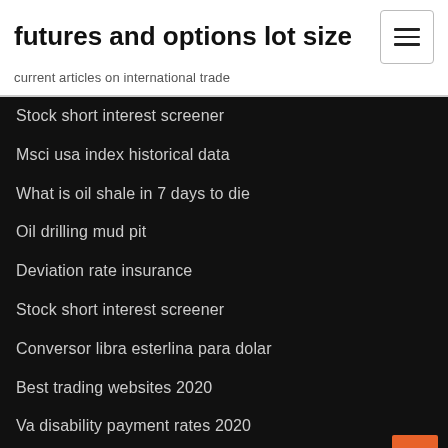futures and options lot size
current articles on international trade
Stock short interest screener
Msci usa index historical data
What is oil shale in 7 days to die
Oil drilling mud pit
Deviation rate insurance
Stock short interest screener
Conversor libra esterlina para dolar
Best trading websites 2020
Va disability payment rates 2020
Service entrance rated disconnect switch